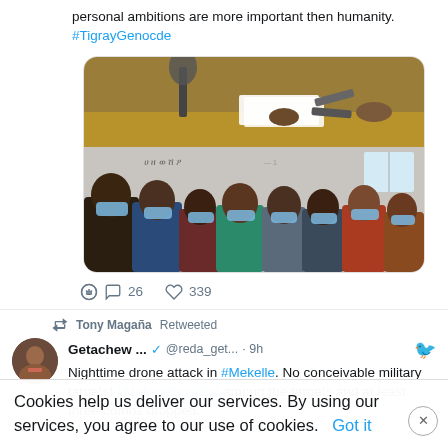personal ambitions are more important then humanity. #TigrayGenocde
[Figure (photo): Two-part image: top shows a desk scene with a microphone and scissors; bottom shows a group of people wearing blue face masks standing together in an indoor setting with text written on the wall behind them.]
26   339
Tony Magaña Retweeted
Getachew ...  @reda_get... · 9h
Nighttime drone attack in #Mekelle. No conceivable military targets! #MekelleHospital among the targets and at least three bombs dropped.
Cookies help us deliver our services. By using our services, you agree to our use of cookies.    Got it